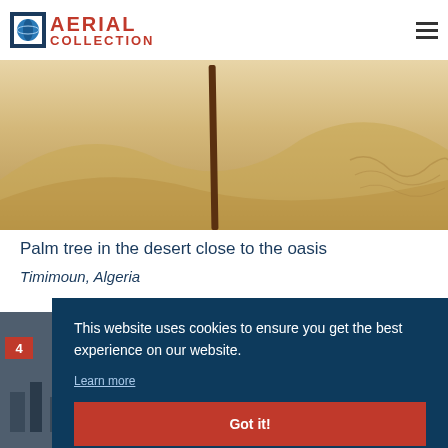AERIAL COLLECTION
[Figure (photo): Desert landscape with sand dunes and a palm tree trunk, Timimoun, Algeria]
Palm tree in the desert close to the oasis
Timimoun, Algeria
[Figure (photo): Partial next image preview with red badge showing 4]
This website uses cookies to ensure you get the best experience on our website.
Learn more
Got it!